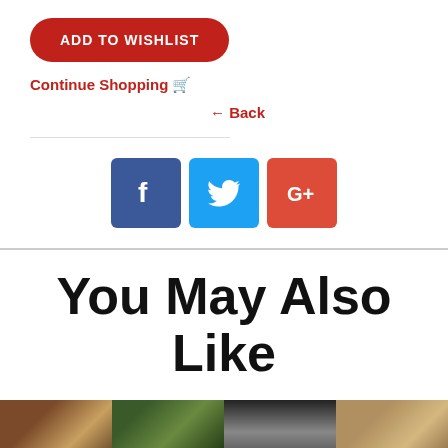ADD TO WISHLIST
Continue Shopping 🛒
← Back
[Figure (infographic): Social media share buttons: Facebook (blue), Twitter (light blue), Google+ (red)]
You May Also Like
[Figure (photo): Four thumbnail portrait photos of people, showing close-up faces]
You May Also Like section with product thumbnails